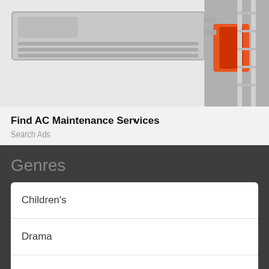[Figure (photo): Photo of AC maintenance unit mounted on wall with worker in orange vest on ladder in background]
Find AC Maintenance Services
Search Ads
Genres
Children's
Drama
Learning